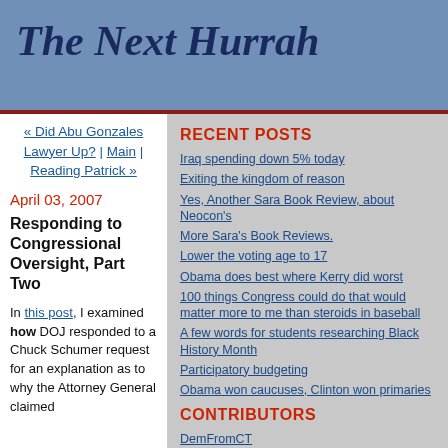The Next Hurrah
« Did Abu Gonzales Lawyer Up? | Main | Reading Patrick »
April 03, 2007
Responding to Congressional Oversight, Part Two
In this post, I examined how DOJ responded to a Chuck Schumer request for an explanation as to why the Attorney General claimed
RECENT POSTS
Iraq spending down 5% today
Exiting the kingdom of reason
Yes, Another Sara Book Review, about Neocon's
More Sara's Book Reviews.
Lower the voting age to 17
Obama does best where Kerry did worst
100 things Congress could do that would matter more to me than steroids in baseball
A few words for students researching Black History Month
Participatory budgeting
Obama won caucuses, Clinton won primaries
CONTRIBUTORS
DemFromCT